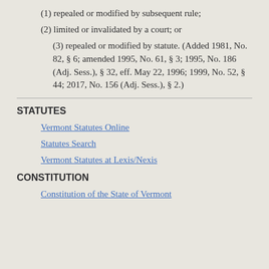(1) repealed or modified by subsequent rule;
(2) limited or invalidated by a court; or
(3) repealed or modified by statute. (Added 1981, No. 82, § 6; amended 1995, No. 61, § 3; 1995, No. 186 (Adj. Sess.), § 32, eff. May 22, 1996; 1999, No. 52, § 44; 2017, No. 156 (Adj. Sess.), § 2.)
STATUTES
Vermont Statutes Online
Statutes Search
Vermont Statutes at Lexis/Nexis
CONSTITUTION
Constitution of the State of Vermont